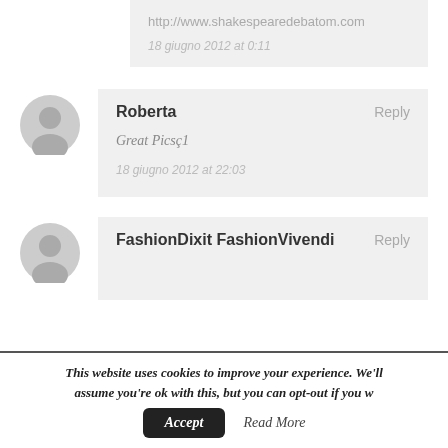http://www.shakespearedebatom.com
18 giugno 2012 at 0:11
Roberta
Reply
Great Picsç1
18 giugno 2012 at 22:03
FashionDixit FashionVivendi
Reply
This website uses cookies to improve your experience. We'll assume you're ok with this, but you can opt-out if you wish.
Accept
Read More